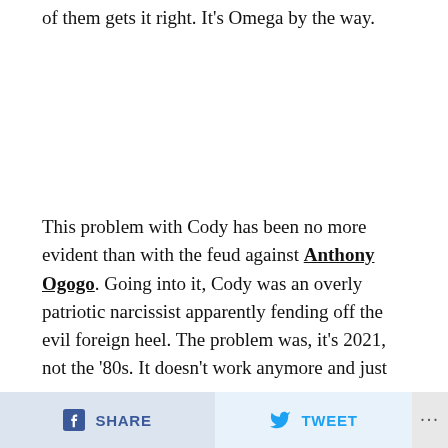of them gets it right. It's Omega by the way.
This problem with Cody has been no more evident than with the feud against Anthony Ogogo. Going into it, Cody was an overly patriotic narcissist apparently fending off the evil foreign heel. The problem was, it's 2021, not the '80s. It doesn't work anymore and just
SHARE   TWEET   ...